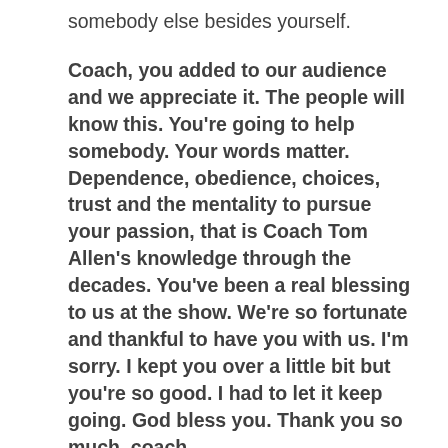somebody else besides yourself.
Coach, you added to our audience and we appreciate it. The people will know this. You're going to help somebody. Your words matter. Dependence, obedience, choices, trust and the mentality to pursue your passion, that is Coach Tom Allen's knowledge through the decades. You've been a real blessing to us at the show. We're so fortunate and thankful to have you with us. I'm sorry. I kept you over a little bit but you're so good. I had to let it keep going. God bless you. Thank you so much, coach.
Lord bless you too, Glenn. Thanks for having me on your show and LEO.